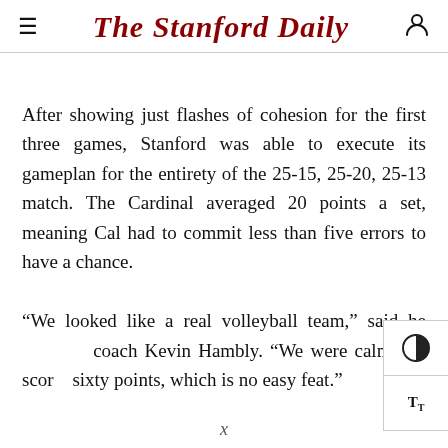The Stanford Daily
After showing just flashes of cohesion for the first three games, Stanford was able to execute its gameplan for the entirety of the 25-15, 25-20, 25-13 match. The Cardinal averaged 20 points a set, meaning Cal had to commit less than five errors to have a chance.

“We looked like a real volleyball team,” said head coach Kevin Hambly. “We were calm and scored sixty points, which is no easy feat.”
x